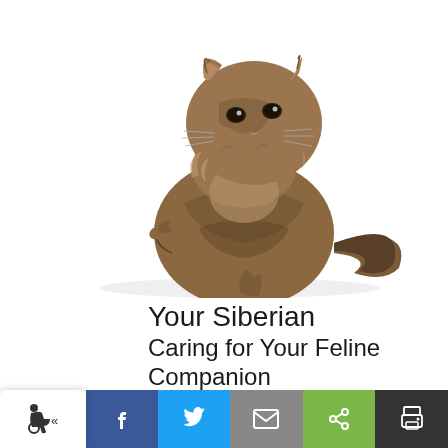[Figure (photo): A fluffy Siberian cat with tabby markings sitting and looking upward, one front paw raised, with a long bushy tail, on a white background.]
Your Siberian
Caring for Your Feline Companion
Siberians: What a Unique Breed!
Accessibility | Facebook | Twitter | Email | Share | Print